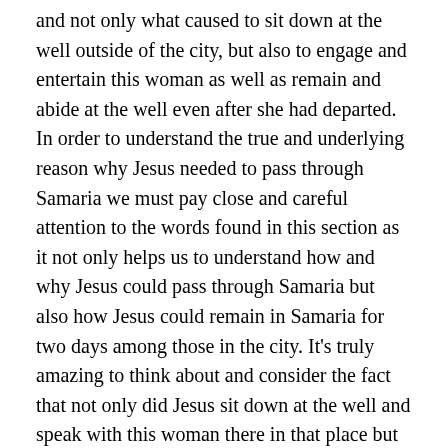and not only what caused to sit down at the well outside of the city, but also to engage and entertain this woman as well as remain and abide at the well even after she had departed. In order to understand the true and underlying reason why Jesus needed to pass through Samaria we must pay close and careful attention to the words found in this section as it not only helps us to understand how and why Jesus could pass through Samaria but also how Jesus could remain in Samaria for two days among those in the city. It's truly amazing to think about and consider the fact that not only did Jesus sit down at the well and speak with this woman there in that place but Jesus would also remain at the well waiting for this woman to come back. Moreover, Jesus would remain at the well knowing that this woman would return unto the city to proclaim her testimony unto them. With this in mind I invite you to consider the following words which are found in verses thirty-one through thirty-eight of the fourth chapter of this book: